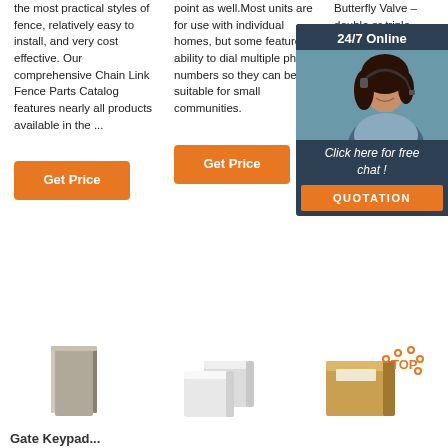the most practical styles of fence, relatively easy to install, and very cost effective. Our comprehensive Chain Link Fence Parts Catalog features nearly all products available in the ...
point as well. Most units are for use with individual homes, but some feature the ability to dial multiple phone numbers so they can be suitable for small communities.
Butterfly Valve – double or triple offset/rubber lined. Plug valves – lubricated balanced ... Lined/c... Diaphr – ...
[Figure (photo): Customer service representative woman with headset, 24/7 Online chat widget with orange Get Price and QUOTATION buttons]
Get Price
Get Price
Get
[Figure (photo): Grey rectangular block product image]
[Figure (photo): Two white/light grey cube-shaped blocks product image]
[Figure (photo): Brown cardboard box with TOP badge overlay]
Gate Keypad...